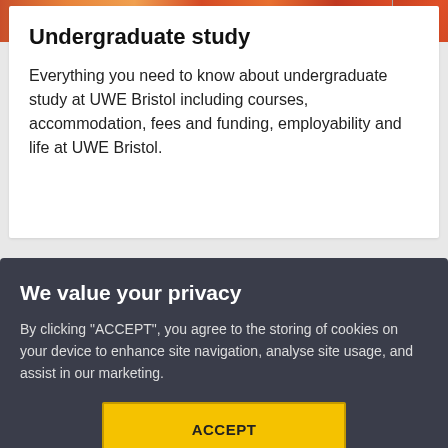[Figure (photo): Colorful photo strip at top of page showing people, partially cropped]
Undergraduate study
Everything you need to know about undergraduate study at UWE Bristol including courses, accommodation, fees and funding, employability and life at UWE Bristol.
We value your privacy
By clicking “ACCEPT”, you agree to the storing of cookies on your device to enhance site navigation, analyse site usage, and assist in our marketing.
ACCEPT
VIEW COOKIE